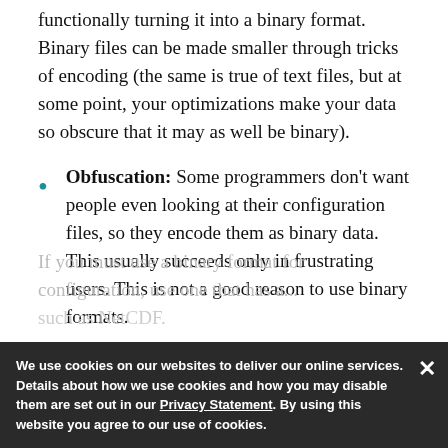functionally turning it into a binary format. Binary files can be made smaller through tricks of encoding (the same is true of text files, but at some point, your optimizations make your data so obscure that it may as well be binary).
Obfuscation: Some programmers don't want people even looking at their configuration files, so they encode them as binary data. This usually succeeds only in frustrating users. This is not a good reason to use binary formats.
If you must use a binary format for configuration, use one that has a... such as NetCDF.
We use cookies on our websites to deliver our online services. Details about how we use cookies and how you may disable them are set out in our Privacy Statement. By using this website you agree to our use of cookies.